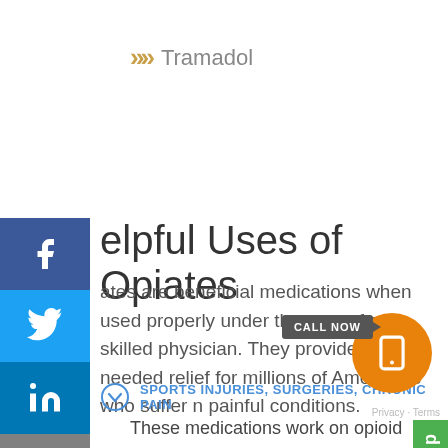Tramadol
Helpful Uses of Opiates
Opiates are beneficial medications when used properly under the care of a skilled physician. They provide much-needed relief for millions of Americans who suffer from painful conditions.
SPORTS INJURIES, SURGERIES, CHRONIC PAIN
These medications work on opioid receptors in the brain, blocking pain messages to the brain and thereby reducing the perception of pain. These medications are generally safe for patients of all ages to manage acute injuries as well as chronic conditions. Short-term is...